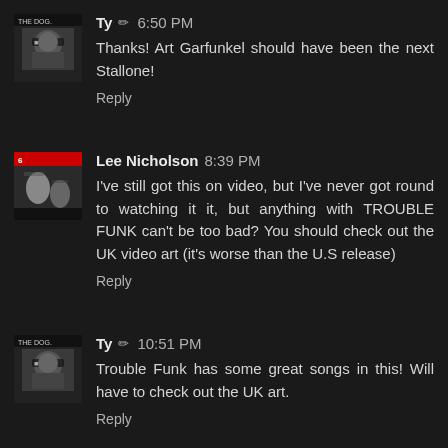[Figure (photo): Avatar thumbnail of user Ty - small movie poster image]
Ty ✏ 6:50 PM
Thanks! Art Garfunkel should have been the next Stallone!
Reply
[Figure (photo): Avatar thumbnail of user Lee Nicholson - small movie poster image]
Lee Nicholson 8:39 PM
I've still got this on video, but I've never got round to watching it it, but anything with TROUBLE FUNK can't be too bad? You should check out the UK video art (it's worse than the U.S release)
Reply
[Figure (photo): Avatar thumbnail of user Ty - small movie poster image]
Ty ✏ 10:51 PM
Trouble Funk has some great songs in this! Will have to check out the UK art.
Reply